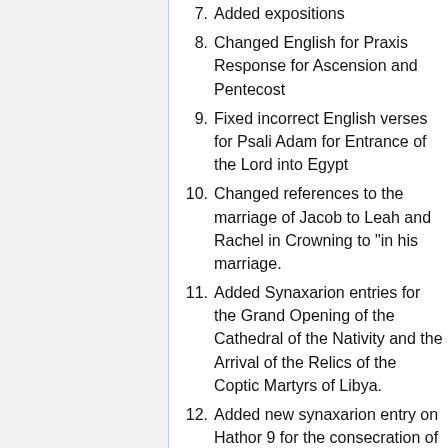7. Added expositions
8. Changed English for Praxis Response for Ascension and Pentecost
9. Fixed incorrect English verses for Psali Adam for Entrance of the Lord into Egypt
10. Changed references to the marriage of Jacob to Leah and Rachel in Crowning to "in his marriage.
11. Added Synaxarion entries for the Grand Opening of the Cathedral of the Nativity and the Arrival of the Relics of the Coptic Martyrs of Libya.
12. Added new synaxarion entry on Hathor 9 for the consecration of the Great Cathedral in Abbasia
13. Corrected Psalm Coptic for